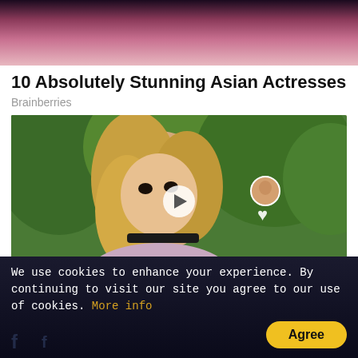[Figure (photo): Cropped photo of a woman with red lips against dark background — top portion only visible]
10 Absolutely Stunning Asian Actresses
Brainberries
[Figure (photo): Photo of Britney Spears with blonde hair and black choker necklace, outdoors with green trees in background. Overlaid with a play button circle, a small circular avatar, a heart icon, and a 1.1M counter label.]
Britney Spears' TikTok Shifted Since Her Conservatorship Ended
ADVERTISEMENT
We use cookies to enhance your experience. By continuing to visit our site you agree to our use of cookies. More info